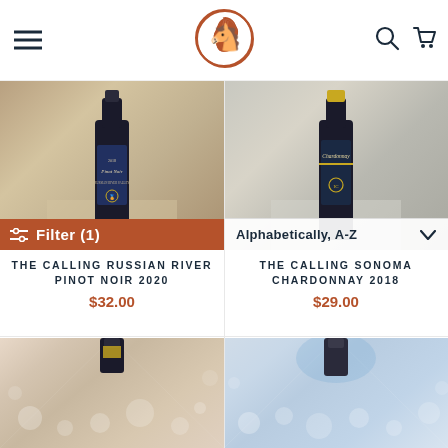[Figure (logo): Horse head logo in circle, terracotta/copper color]
[Figure (photo): Wine bottle with dark label reading Pinot Noir, Russian River Valley 2018, on wooden table]
[Figure (photo): Wine bottle with dark label reading Chardonnay, on wooden table background]
Filter (1)
Alphabetically, A-Z
THE CALLING RUSSIAN RIVER PINOT NOIR 2020
$32.00
THE CALLING SONOMA CHARDONNAY 2018
$29.00
[Figure (photo): Wine bottle neck/top on bokeh light background, warm tones]
[Figure (photo): Wine bottle neck/top on bokeh light background, cool blue tones]